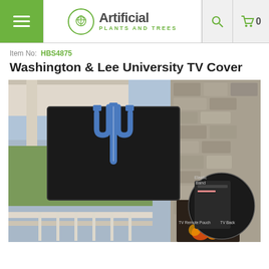Artificial Plants and Trees
Item No: HBS4875
Washington & Lee University TV Cover
[Figure (photo): Product photo of a Washington & Lee University TV Cover shown mounted outdoors on a stone fireplace, with a black cover bearing a blue trident/W&L logo. Inset shows TV Remote Pouch, TV Back, and Elastic Band details.]